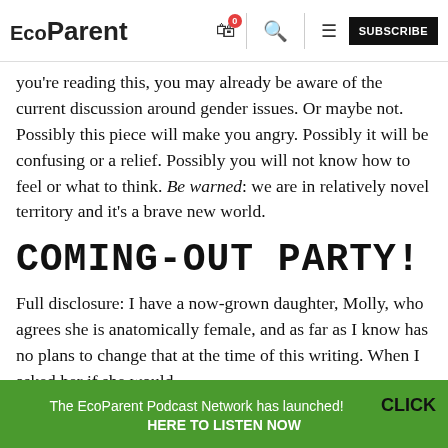EcoParent
you're reading this, you may already be aware of the current discussion around gender issues. Or maybe not. Possibly this piece will make you angry. Possibly it will be confusing or a relief. Possibly you will not know how to feel or what to think. Be warned: we are in relatively novel territory and it's a brave new world.
COMING-OUT PARTY!
Full disclosure: I have a now-grown daughter, Molly, who agrees she is anatomically female, and as far as I know has no plans to change that at the time of this writing. When I asked her if she would
The EcoParent Podcast Network has launched! CLICK HERE TO LISTEN NOW